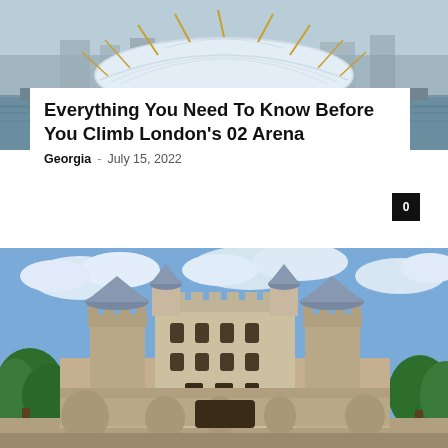[Figure (photo): Aerial/waterfront view of the O2 Arena in London, showing the distinctive white dome structure with yellow support masts, viewed from across the Thames river]
Everything You Need To Know Before You Climb London's 02 Arena
Georgia  -  July 15, 2022
[Figure (photo): Photograph of the Tower of London, a historic medieval castle with multiple turrets and towers, surrounded by green trees under a partly cloudy blue sky]